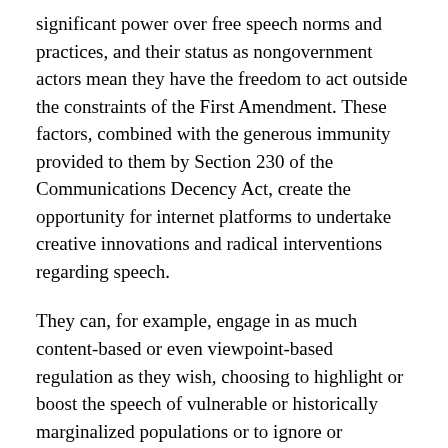significant power over free speech norms and practices, and their status as nongovernment actors mean they have the freedom to act outside the constraints of the First Amendment. These factors, combined with the generous immunity provided to them by Section 230 of the Communications Decency Act, create the opportunity for internet platforms to undertake creative innovations and radical interventions regarding speech.
They can, for example, engage in as much content-based or even viewpoint-based regulation as they wish, choosing to highlight or boost the speech of vulnerable or historically marginalized populations or to ignore or quarantine violent, false, or otherwise reckless speech. Over the last few years, tech industry leaders have finally begun to take some online abuses seriously and to reckon with the detrimental impact they have on democracy, autonomy, and truth. More